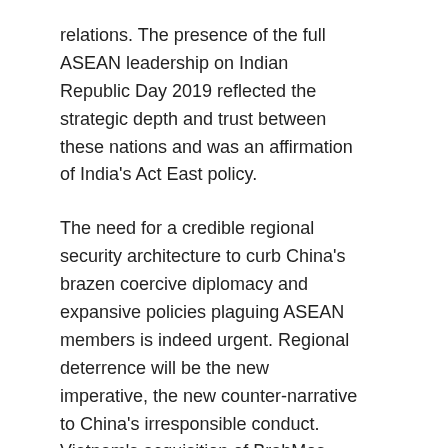relations. The presence of the full ASEAN leadership on Indian Republic Day 2019 reflected the strategic depth and trust between these nations and was an affirmation of India's Act East policy.
The need for a credible regional security architecture to curb China's brazen coercive diplomacy and expansive policies plaguing ASEAN members is indeed urgent. Regional deterrence will be the new imperative, the new counter-narrative to China's irresponsible conduct. Vietnam's acquisition of BrahMos, Indonesia will add tremendously to a credible regional deterrent.
Prime Minister Narendra Modi's vision for India's role as an internet security provider in the Indian Ocean region is now taking shape. As a result, India's relationship with ASEAN, a cornerstone of our foreign policy, could finally be cemented by adding that critical dimension of security that ASEAN members have long expected from Indian leaders.